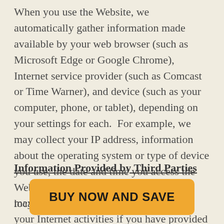When you use the Website, we automatically gather information made available by your web browser (such as Microsoft Edge or Google Chrome), Internet service provider (such as Comcast or Time Warner), and device (such as your computer, phone, or tablet), depending on your settings for each.  For example, we may collect your IP address, information about the operating system or type of device you use, the date and time you access the Website, your log in attempts, and the location of your device.
Information Provided by Third Parties
may receive information about you and your Internet activities if you have provided it to a Third Party and we subsequently acquire the information from the Third Party. Such information may include, but is not limited to…
BUY NOW AND SAVE